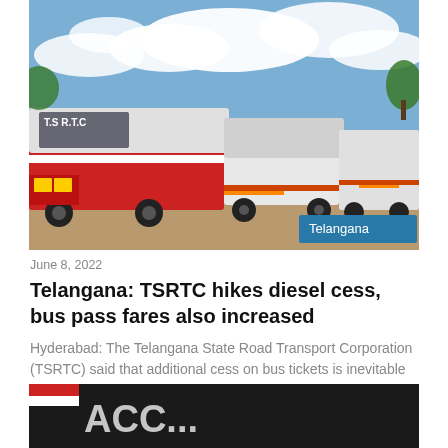[Figure (photo): Telangana State Road Transport Corporation (TSRTC) buses parked in a depot under a blue sky with clouds. Red and white buses with 'T.S R.T.C' text visible. A 'Telangana' label badge in the bottom right corner of the image.]
June 8, 2022
Telangana: TSRTC hikes diesel cess, bus pass fares also increased
Hyderabad: The Telangana State Road Transport Corporation (TSRTC) said that additional cess on bus tickets is inevitable due to the rising prices of diesel. The Corporation buses use nearly 6 lakh liters…
[Figure (photo): Partial view of a blackboard with chalk writing showing 'ACC...' text, partially cut off at the bottom of the page.]